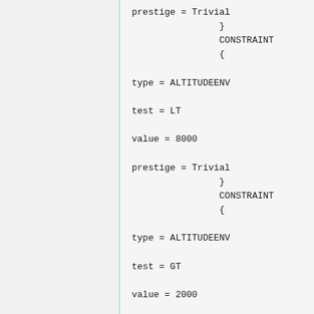prestige = Trivial
                    }
                    CONSTRAINT
                    {

type = ALTITUDEENV

test = LT

value = 8000

prestige = Trivial
                    }
                    CONSTRAINT
                    {

type = ALTITUDEENV

test = GT

value = 2000

prestige = Significant
                    }